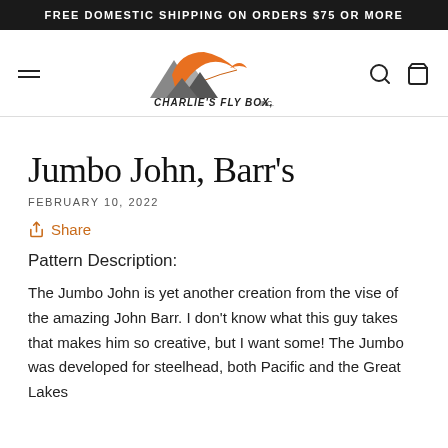FREE DOMESTIC SHIPPING ON ORDERS $75 OR MORE
[Figure (logo): Charlie's Fly Box, Inc. logo with mountain and orange arc]
Jumbo John, Barr's
FEBRUARY 10, 2022
Share
Pattern Description:
The Jumbo John is yet another creation from the vise of the amazing John Barr. I don't know what this guy takes that makes him so creative, but I want some! The Jumbo was developed for steelhead, both Pacific and the Great Lakes